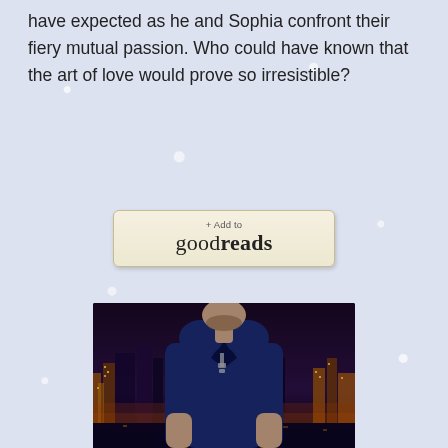have expected as he and Sophia confront their fiery mutual passion. Who could have known that the art of love would prove so irresistible?
[Figure (other): Goodreads 'Add to goodreads' button with beige/cream background and tan border]
Amazon | B&N
[Figure (photo): Book cover showing a man in a dark navy v-neck shirt with dog tags, city skyline with lights in the background at night]